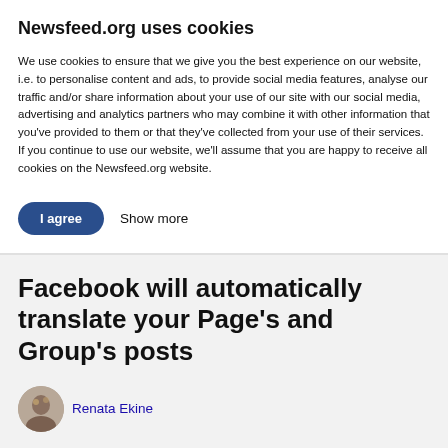Newsfeed.org uses cookies
We use cookies to ensure that we give you the best experience on our website, i.e. to personalise content and ads, to provide social media features, analyse our traffic and/or share information about your use of our site with our social media, advertising and analytics partners who may combine it with other information that you've provided to them or that they've collected from your use of their services. If you continue to use our website, we'll assume that you are happy to receive all cookies on the Newsfeed.org website.
I agree
Show more
Facebook will automatically translate your Page's and Group's posts
Renata Ekine
19. 6. 2018
[Figure (screenshot): Facebook Share 74 and Tweet social sharing buttons]
[Figure (photo): Partial image strip at bottom of page]